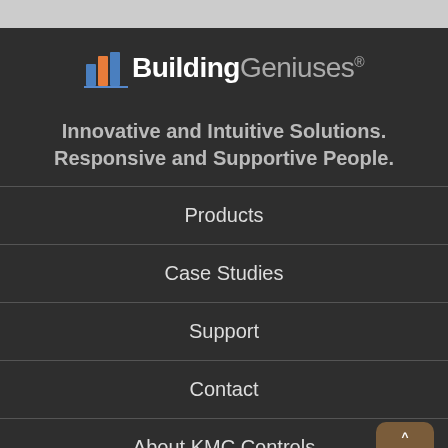[Figure (logo): BuildingGeniuses logo with building icon in blue and orange, bold text 'Building' in white and 'Geniuses' in gray with registered trademark symbol]
Innovative and Intuitive Solutions. Responsive and Supportive People.
Products
Case Studies
Support
Contact
About KMC Controls
KMC News